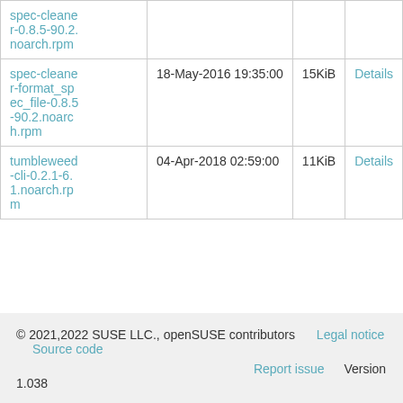| Name | Date | Size | Details |
| --- | --- | --- | --- |
| spec-cleaner-0.8.5-90.2.noarch.rpm | 18-May-2016 19:35:00 | 15KiB | Details |
| tumbleweed-cli-0.2.1-6.1.noarch.rpm | 04-Apr-2018 02:59:00 | 11KiB | Details |
© 2021,2022 SUSE LLC., openSUSE contributors   Legal notice   Source code   Report issue   Version 1.038